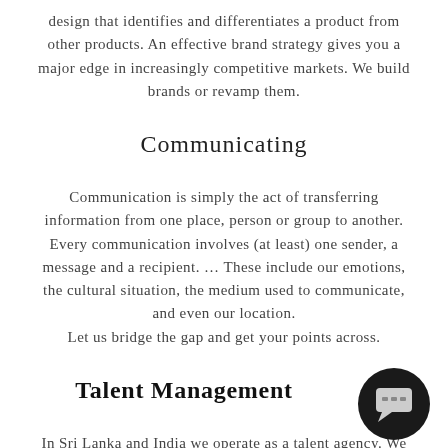design that identifies and differentiates a product from other products. An effective brand strategy gives you a major edge in increasingly competitive markets. We build brands or revamp them.
Communicating
Communication is simply the act of transferring information from one place, person or group to another. Every communication involves (at least) one sender, a message and a recipient. … These include our emotions, the cultural situation, the medium used to communicate, and even our location. Let us bridge the gap and get your points across.
Talent Management
In Sri Lanka and India we operate as a talent agency. We scout, develop, and promote talent to our
[Figure (illustration): Black circular chat/message icon button in the bottom-right corner of the page]